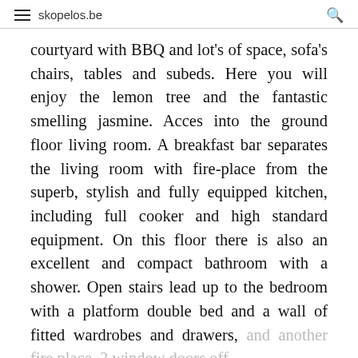≡ skopelos.be 🔍
courtyard with BBQ and lot's of space, sofa's chairs, tables and subeds. Here you will enjoy the lemon tree and the fantastic smelling jasmine. Acces into the ground floor living room. A breakfast bar separates the living room with fire-place from the superb, stylish and fully equipped kitchen, including full cooker and high standard equipment. On this floor there is also an excellent and compact bathroom with a shower. Open stairs lead up to the bedroom with a platform double bed and a wall of fitted wardrobes and drawers, and another fire place, 2 window doors off